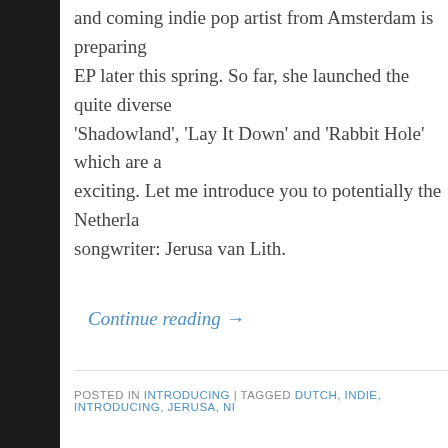and coming indie pop artist from Amsterdam is preparing EP later this spring. So far, she launched the quite diverse 'Shadowland', 'Lay It Down' and 'Rabbit Hole' which are a exciting. Let me introduce you to potentially the Netherla songwriter: Jerusa van Lith.
Continue reading →
POSTED IN INTRODUCING | TAGGED DUTCH, INDIE, INTRODUCING, JERUSA, NI...
Power...